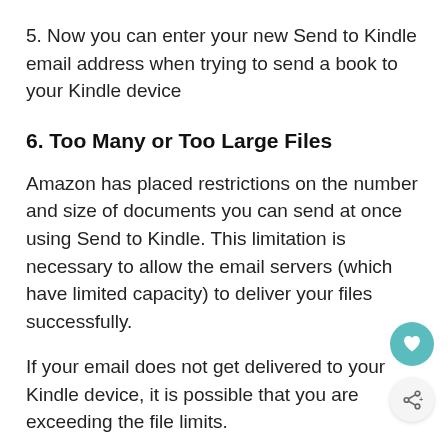5. Now you can enter your new Send to Kindle email address when trying to send a book to your Kindle device
6. Too Many or Too Large Files
Amazon has placed restrictions on the number and size of documents you can send at once using Send to Kindle. This limitation is necessary to allow the email servers (which have limited capacity) to deliver your files successfully.
If your email does not get delivered to your Kindle device, it is possible that you are exceeding the file limits.